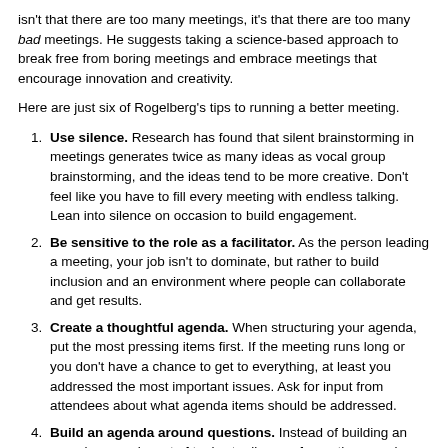isn't that there are too many meetings, it's that there are too many bad meetings. He suggests taking a science-based approach to break free from boring meetings and embrace meetings that encourage innovation and creativity.
Here are just six of Rogelberg's tips to running a better meeting.
Use silence. Research has found that silent brainstorming in meetings generates twice as many ideas as vocal group brainstorming, and the ideas tend to be more creative. Don't feel like you have to fill every meeting with endless talking. Lean into silence on occasion to build engagement.
Be sensitive to the role as a facilitator. As the person leading a meeting, your job isn't to dominate, but rather to build inclusion and an environment where people can collaborate and get results.
Create a thoughtful agenda. When structuring your agenda, put the most pressing items first. If the meeting runs long or you don't have a chance to get to everything, at least you addressed the most important issues. Ask for input from attendees about what agenda items should be addressed.
Build an agenda around questions. Instead of building an agenda around a set of topics to discuss, frame the agenda as a set of questions to be answered. This approach creates different thinking and gives you a better idea of who to invite who can best answer the questions. When the questions have been answered, the meeting is over.